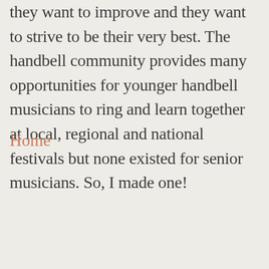they want to improve and they want to strive to be their very best. The handbell community provides many opportunities for younger handbell musicians to ring and learn together at local, regional and national festivals but none existed for senior musicians. So, I made one!
Home